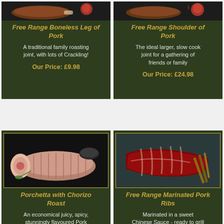[Figure (photo): Free Range Boneless Leg of Pork product photo on dark background with garnish]
Free Range Boneless Leg of Pork
A traditional family roasting joint, with lots of Crackling!
Our Price: £9.98
[Figure (photo): Free Range Shoulder of Pork product photo on dark background with apple]
Free Range Shoulder of Pork
The ideal larger, slow cook joint for a gathering of friends or family
Our Price: £24.98
[Figure (photo): Porchetta with Chorizo Roast - rolled pork joint with herbs and spices on dark background]
Porchetta with Chorizo Roast
An economical juicy, spicy, stunningly flavoured Pork
[Figure (photo): Free Range Marinated Pork Ribs on dark background with cinnamon sticks]
Free Range Marinated Pork Ribs
Marinated in a sweet Chinese Sauce - ready to grill